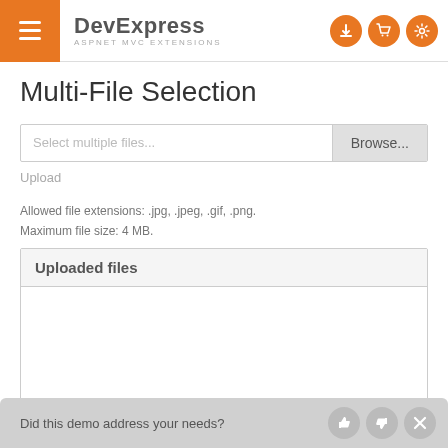DevExpress ASPNET MVC EXTENSIONS
Multi-File Selection
[Figure (screenshot): File upload input field with placeholder text 'Select multiple files...' and a Browse... button]
Upload
Allowed file extensions: .jpg, .jpeg, .gif, .png.
Maximum file size: 4 MB.
Uploaded files
Did this demo address your needs?